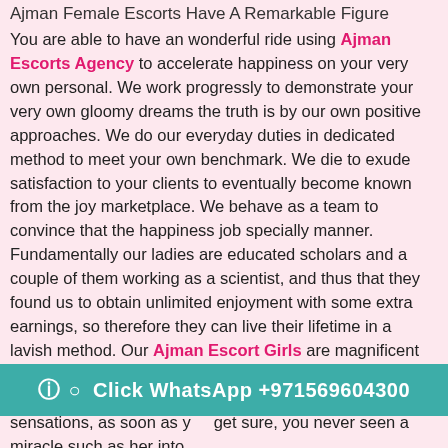Ajman Female Escorts Have A Remarkable Figure
You are able to have an wonderful ride using Ajman Escorts Agency to accelerate happiness on your very own personal. We work progressly to demonstrate your very own gloomy dreams the truth is by our own positive approaches. We do our everyday duties in dedicated method to meet your own benchmark. We die to exude satisfaction to your clients to eventually become known from the joy marketplace. We behave as a team to convince that the happiness job specially manner. Fundamentally our ladies are educated scholars and a couple of them working as a scientist, and thus that they found us to obtain unlimited enjoyment with some extra earnings, so therefore they can live their lifetime in a lavish method. Our Ajman Escort Girls are magnificent enough to twist the shagging penis as a steel rod. You had start feelingan perhaps not understood form of magical sensations, as soon as y... get sure, you never seen a miracle such as her into
Click WhatsApp +971569604300